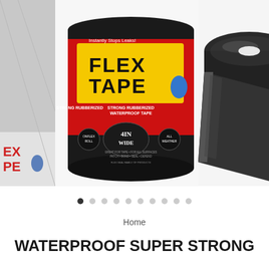[Figure (photo): Product image carousel showing Flex Tape packaging (black can with yellow FLEX TAPE logo, 4IN WIDE label) on the left and a roll of black waterproof tape unrolled on the right. Partial images visible on sides.]
[Figure (infographic): Navigation dots row showing 10 dots, first dot filled/active (black), rest gray/outline dots indicating image carousel position.]
Home
WATERPROOF SUPER STRONG